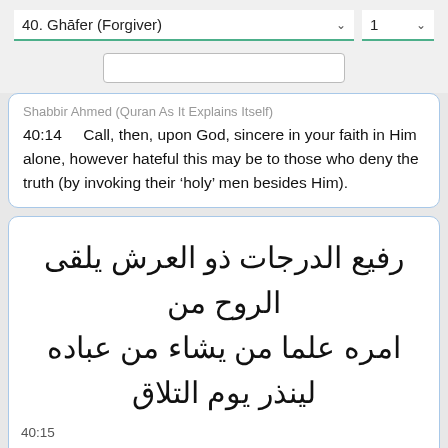40. Ghāfer (Forgiver)    1
Shabbir Ahmed (Quran As It Explains Itself)
40:14    Call, then, upon God, sincere in your faith in Him alone, however hateful this may be to those who deny the truth (by invoking their 'holy' men besides Him).
40:15 رفيع الدرجات ذو العرش يلقى الروح من امره علما من يشاء من عباده لينذر يوم التلاق
40:15    rfyA aldrjat źw alArș ylqy alrwH mn amrh Alya mn yșaa mn Abadh lynźr ywm altlaq
Transcription (English)